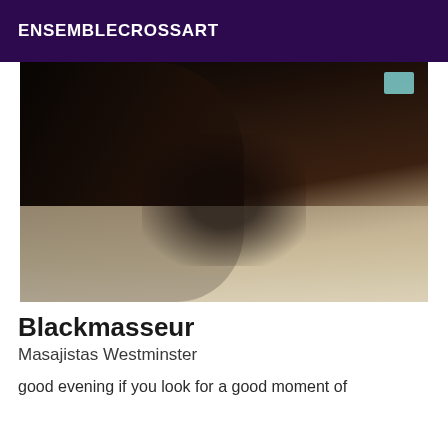ENSEMBLECROSSART
[Figure (photo): A dark-toned photograph showing a person's hands and body on a bed with white/cream sheets, with a blue box visible in the background.]
Blackmasseur
Masajistas Westminster
good evening if you look for a good moment of